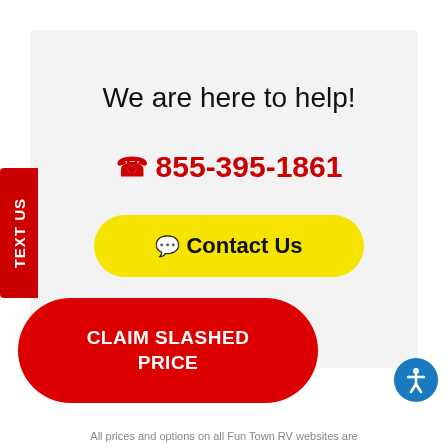We are here to help!
855-395-1861
Contact Us
TEXT US
CLAIM SLASHED PRICE
All prices and options on all Fun Town RV websites are